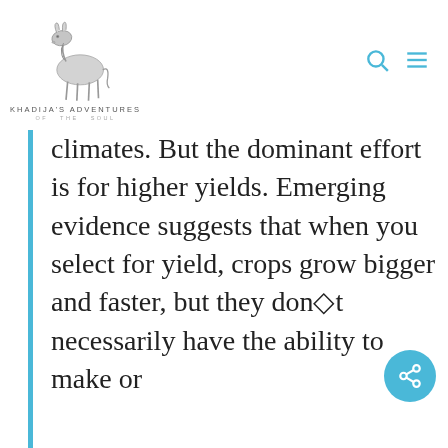[Figure (logo): Khadija's Adventures of the Soul logo with a hand-drawn donkey illustration above the text]
climates. But the dominant effort is for higher yields. Emerging evidence suggests that when you select for yield, crops grow bigger and faster, but they don●t necessarily have the ability to make or